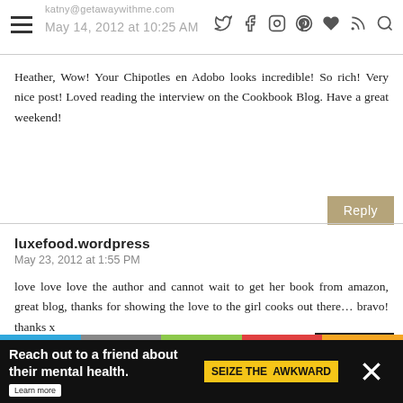katny@getawaywithme.com — May 14, 2012 at 10:25 AM
Heather, Wow! Your Chipotles en Adobo looks incredible! So rich! Very nice post! Loved reading the interview on the Cookbook Blog. Have a great weekend!
luxefood.wordpress
May 23, 2012 at 1:55 PM
love love love the author and cannot wait to get her book from amazon, great blog, thanks for showing the love to the girl cooks out there… bravo! thanks x
[Figure (screenshot): Advertisement banner: 'Reach out to a friend about their mental health. Learn more' with SEIZE THE AWKWARD badge on dark background with colorful bar.]